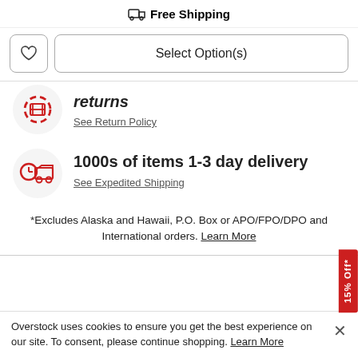Free Shipping
Select Option(s)
returns
See Return Policy
1000s of items 1-3 day delivery
See Expedited Shipping
*Excludes Alaska and Hawaii, P.O. Box or APO/FPO/DPO and International orders. Learn More
15% Off*
Overstock uses cookies to ensure you get the best experience on our site. To consent, please continue shopping. Learn More